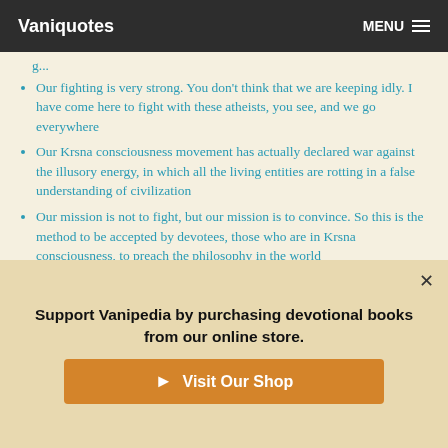Vaniquotes | MENU
Our fighting is very strong. You don't think that we are keeping idly. I have come here to fight with these atheists, you see, and we go everywhere
Our Krsna consciousness movement has actually declared war against the illusory energy, in which all the living entities are rotting in a false understanding of civilization
Our mission is not to fight, but our mission is to convince. So this is the method to be accepted by devotees, those who are in Krsna consciousness, to preach the philosophy in the world
Support Vanipedia by purchasing devotional books from our online store.
Visit Our Shop